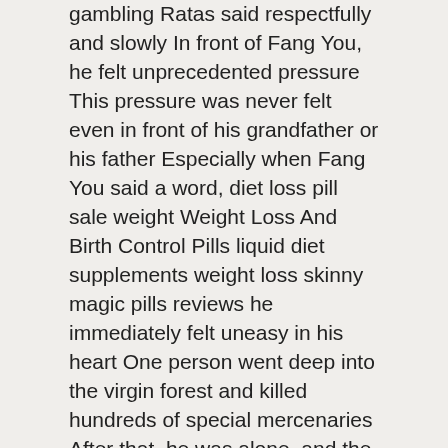gambling Ratas said respectfully and slowly In front of Fang You, he felt unprecedented pressure This pressure was never felt even in front of his grandfather or his father Especially when Fang You said a word, diet loss pill sale weight Weight Loss And Birth Control Pills liquid diet supplements weight loss skinny magic pills reviews he immediately felt uneasy in his heart One person went deep into the virgin forest and killed hundreds of special mercenaries After that, he was alone, and the other forces around Gasaka, who were shocked, did not dare to make any rash moves.
Master I, I haven't seen it with my own eyes, but diet pills for women kardashian weight loss pills looking at the situation where the roulette machine is like a